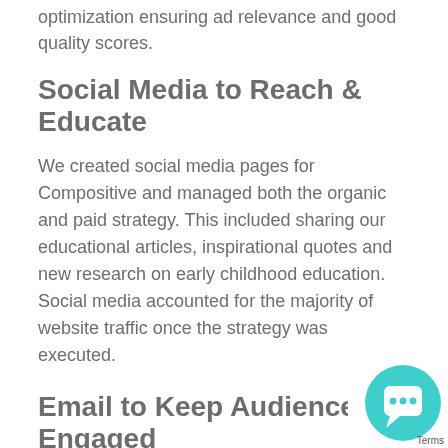optimization ensuring ad relevance and good quality scores.
Social Media to Reach & Educate
We created social media pages for Compositive and managed both the organic and paid strategy. This included sharing our educational articles, inspirational quotes and new research on early childhood education. Social media accounted for the majority of website traffic once the strategy was executed.
Email to Keep Audience Engaged
We b...